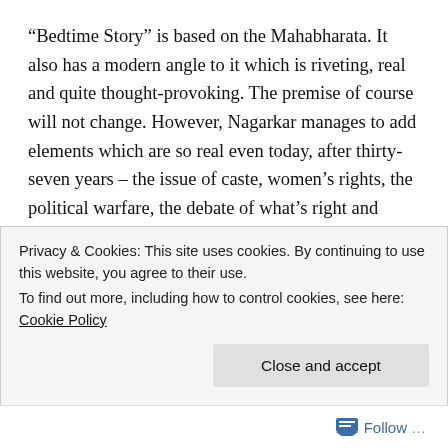“Bedtime Story” is based on the Mahabharata. It also has a modern angle to it which is riveting, real and quite thought-provoking. The premise of course will not change. However, Nagarkar manages to add elements which are so real even today, after thirty-seven years – the issue of caste, women’s rights, the political warfare, the debate of what’s right and what’s wrong, all of it has not changed at all. This just goes to show the society in which we live. We are a regressive lot and the sooner we admit to that, the better it is for all of us. There is then scope for change, I think. Nagarkar’s writing of “Bedtime Story” is so brutal and real that sometimes I just wanted to shy away from it. The truth, when stabbed always
Privacy & Cookies: This site uses cookies. By continuing to use this website, you agree to their use.
To find out more, including how to control cookies, see here: Cookie Policy
Close and accept
Follow